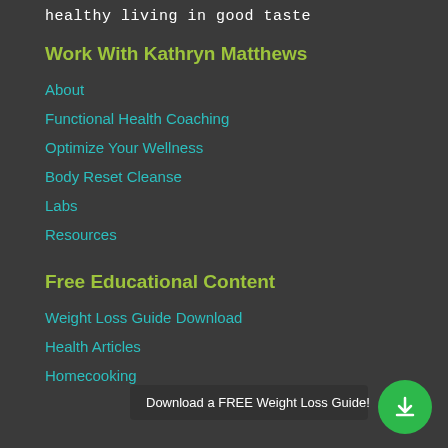healthy living in good taste
Work With Kathryn Matthews
About
Functional Health Coaching
Optimize Your Wellness
Body Reset Cleanse
Labs
Resources
Free Educational Content
Weight Loss Guide Download
Health Articles
Homecooking
Download a FREE Weight Loss Guide!